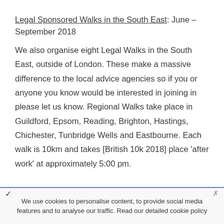Legal Sponsored Walks in the South East: June – September 2018
We also organise eight Legal Walks in the South East, outside of London. These make a massive difference to the local advice agencies so if you or anyone you know would be interested in joining in please let us know. Regional Walks take place in Guildford, Epsom, Reading, Brighton, Hastings, Chichester, Tunbridge Wells and Eastbourne. Each walk is 10km and takes [British 10k 2018] place ‘after work’ at approximately 5:00 pm.
We use cookies to personalise content, to provide social media features and to analyse our traffic. Read our detailed cookie policy